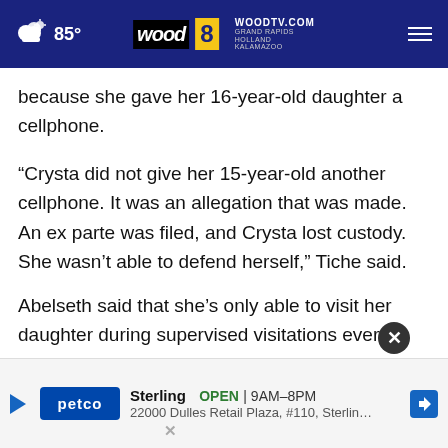85° | WOODTV.COM | GRAND RAPIDS, HOLLAND, KALAMAZOO | wood 8 TV
because she gave her 16-year-old daughter a cellphone.
“Crysta did not give her 15-year-old another cellphone. It was an allegation that was made. An ex parte was filed, and Crysta lost custody. She wasn’t able to defend herself,” Tiche said.
Abelseth said that she’s only able to visit her daughter during supervised visitations every other weekend.
“He’s [trying to prevent her from being able to] ak to her, an
[Figure (screenshot): Advertisement: Petco - Sterling, OPEN 9AM-8PM, 22000 Dulles Retail Plaza, #110, Sterling]